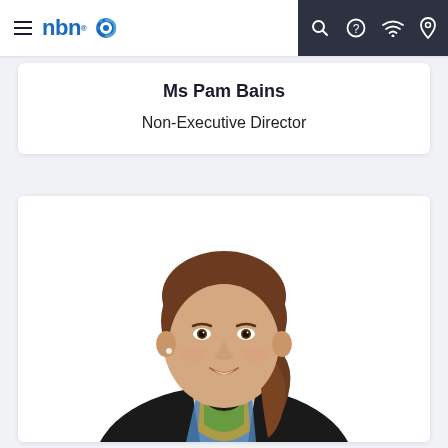nbn navigation bar with hamburger menu, nbn logo, search, help, wifi, and location icons
Ms Pam Bains
Non-Executive Director
[Figure (photo): Professional headshot of Ms Pam Bains, a woman with brown hair in a ponytail, smiling, wearing a dark blazer and colourful scarf, on a white background.]